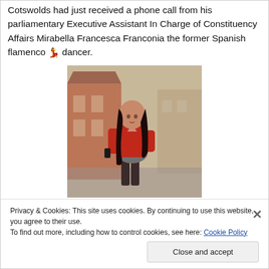Cotswolds had just received a phone call from his parliamentary Executive Assistant In Charge of Constituency Affairs Mirabella Francesca Franconia the former Spanish flamenco 💃 dancer.
[Figure (photo): Young woman with long dark hair wearing a red blouse and grey skirt, looking at a phone, standing in an urban square with blurred buildings in background.]
Privacy & Cookies: This site uses cookies. By continuing to use this website, you agree to their use. To find out more, including how to control cookies, see here: Cookie Policy